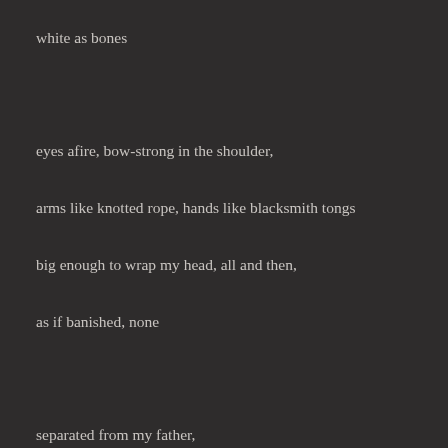white as bones
eyes afire, bow-strong in the shoulder,
arms like knotted rope, hands like blacksmith tongs
big enough to wrap my head, all and then,
as if banished, none
separated from my father,
i have seen the mountains again